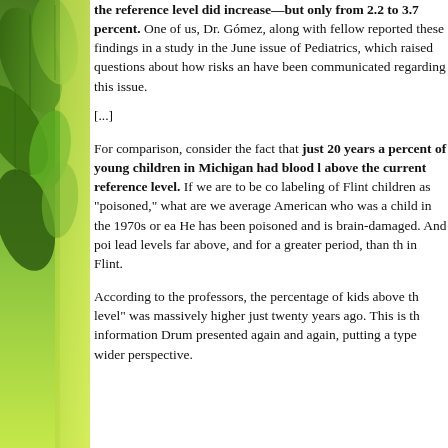[Figure (photo): Green leaves background image on the left side of the page]
the reference level did increase—but only from 2.2 to 3.7 percent. One of us, Dr. Gómez, along with fellow reported these findings in a study in the June issue of Pediatrics, which raised questions about how risks an have been communicated regarding this issue.
[...]
For comparison, consider the fact that just 20 years a percent of young children in Michigan had blood l above the current reference level. If we are to be co labeling of Flint children as "poisoned," what are we average American who was a child in the 1970s or ea He has been poisoned and is brain-damaged. And poi lead levels far above, and for a greater period, than th in Flint.
According to the professors, the percentage of kids above th level" was massively higher just twenty years ago. This is th information Drum presented again and again, putting a type wider perspective.